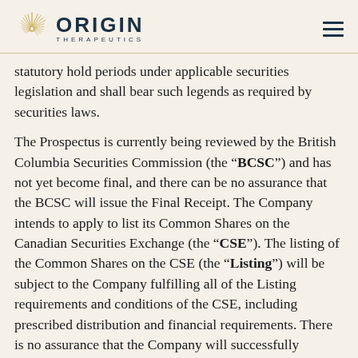ORIGIN THERAPEUTICS
statutory hold periods under applicable securities legislation and shall bear such legends as required by securities laws.
The Prospectus is currently being reviewed by the British Columbia Securities Commission (the “BCSC”) and has not yet become final, and there can be no assurance that the BCSC will issue the Final Receipt. The Company intends to apply to list its Common Shares on the Canadian Securities Exchange (the “CSE”). The listing of the Common Shares on the CSE (the “Listing”) will be subject to the Company fulfilling all of the Listing requirements and conditions of the CSE, including prescribed distribution and financial requirements. There is no assurance that the Company will successfully achieve the